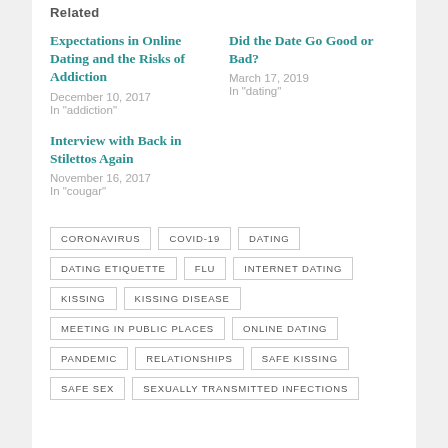Related
Expectations in Online Dating and the Risks of Addiction
December 10, 2017
In "addiction"
Did the Date Go Good or Bad?
March 17, 2019
In "dating"
Interview with Back in Stilettos Again
November 16, 2017
In "cougar"
CORONAVIRUS
COVID-19
DATING
DATING ETIQUETTE
FLU
INTERNET DATING
KISSING
KISSING DISEASE
MEETING IN PUBLIC PLACES
ONLINE DATING
PANDEMIC
RELATIONSHIPS
SAFE KISSING
SAFE SEX
SEXUALLY TRANSMITTED INFECTIONS